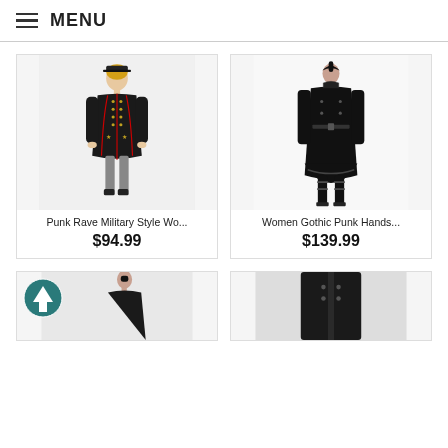MENU
[Figure (photo): Woman wearing a black Punk Rave military style coat with red trim and gold buttons, black hat, fishnets]
Punk Rave Military Style Wo...
$94.99
[Figure (photo): Woman wearing a black Women Gothic Punk handsome coat with belt and buckles, tall boots]
Women Gothic Punk Hands...
$139.99
[Figure (photo): Partial view of bottom-left product card showing a woman in gothic attire with an upward arrow badge]
[Figure (photo): Partial view of bottom-right product card showing a dark gothic coat]